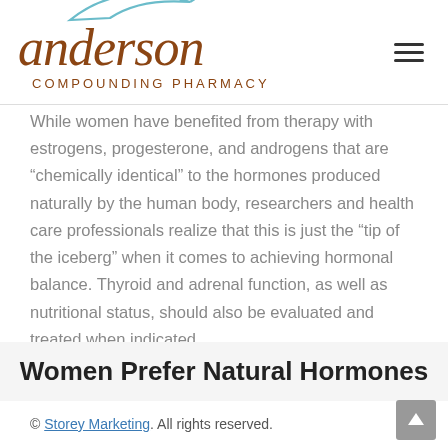[Figure (logo): Anderson Compounding Pharmacy logo with script text and leaf graphic]
While women have benefited from therapy with estrogens, progesterone, and androgens that are “chemically identical” to the hormones produced naturally by the human body, researchers and health care professionals realize that this is just the “tip of the iceberg” when it comes to achieving hormonal balance. Thyroid and adrenal function, as well as nutritional status, should also be evaluated and treated when indicated.
Women Prefer Natural Hormones
© Storey Marketing. All rights reserved.